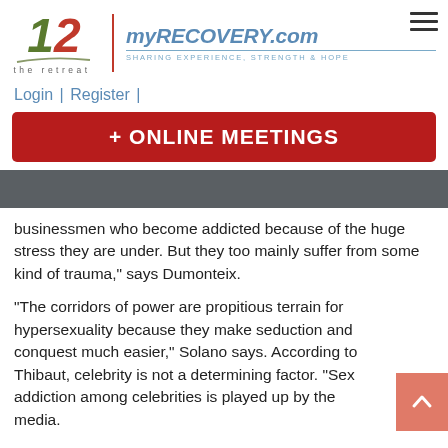[Figure (logo): The Retreat and myRECOVERY.com combined logo with navigation header]
Login | Register |
+ ONLINE MEETINGS
businessmen who become addicted because of the huge stress they are under. But they too mainly suffer from some kind of trauma," says Dumonteix.
"The corridors of power are propitious terrain for hypersexuality because they make seduction and conquest much easier," Solano says. According to Thibaut, celebrity is not a determining factor. "Sex addiction among celebrities is played up by the media.